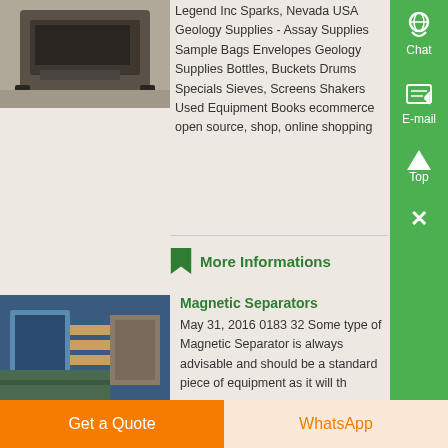[Figure (photo): Industrial equipment photo - dark machinery on warehouse floor]
Legend Inc Sparks, Nevada USA Geology Supplies - Assay Supplies Sample Bags Envelopes Geology Supplies Bottles, Buckets Drums Specials Sieves, Screens Shakers Used Equipment Books ecommerce open source, shop, online shopping
More Informations
[Figure (photo): Industrial magnetic separator equipment with blue machinery and metal processing]
Magnetic Separators
May 31, 2016 0183 32 Some type of Magnetic Separator is always advisable and should be a standard piece of equipment as it will th...